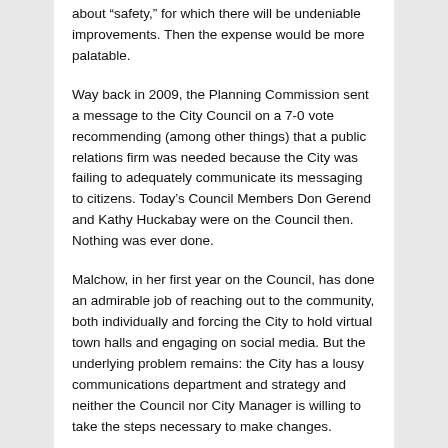about “safety,” for which there will be undeniable improvements. Then the expense would be more palatable.
Way back in 2009, the Planning Commission sent a message to the City Council on a 7-0 vote recommending (among other things) that a public relations firm was needed because the City was failing to adequately communicate its messaging to citizens. Today’s Council Members Don Gerend and Kathy Huckabay were on the Council then. Nothing was ever done.
Malchow, in her first year on the Council, has done an admirable job of reaching out to the community, both individually and forcing the City to hold virtual town halls and engaging on social media. But the underlying problem remains: the City has a lousy communications department and strategy and neither the Council nor City Manager is willing to take the steps necessary to make changes.
Failure is an option